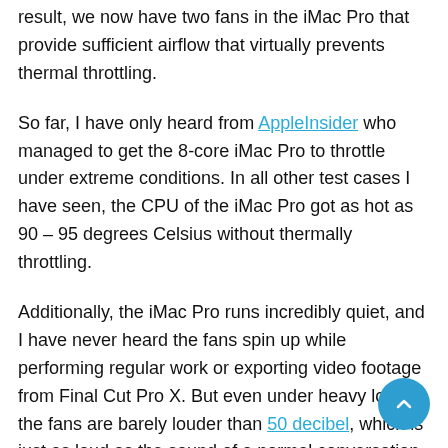result, we now have two fans in the iMac Pro that provide sufficient airflow that virtually prevents thermal throttling.
So far, I have only heard from AppleInsider who managed to get the 8-core iMac Pro to throttle under extreme conditions. In all other test cases I have seen, the CPU of the iMac Pro got as hot as 90 – 95 degrees Celsius without thermally throttling.
Additionally, the iMac Pro runs incredibly quiet, and I have never heard the fans spin up while performing regular work or exporting video footage from Final Cut Pro X. But even under heavy load, the fans are barely louder than 50 decibel, which is just as loud as the sound of a normal conversation at home.